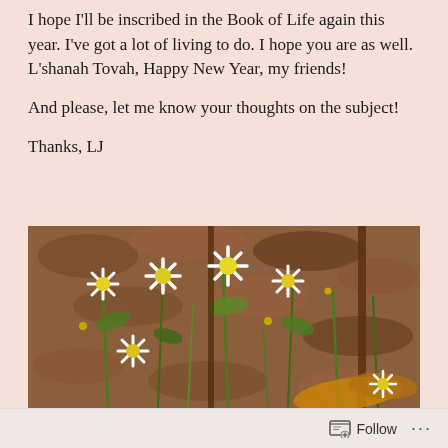I hope I'll be inscribed in the Book of Life again this year. I've got a lot of living to do. I hope you are as well. L'shanah Tovah, Happy New Year, my friends!
And please, let me know your thoughts on the subject!
Thanks, LJ
[Figure (photo): Close-up photo of small white daisy flowers with yellow centers growing among green stems and brown autumn leaves on the ground.]
Follow ...